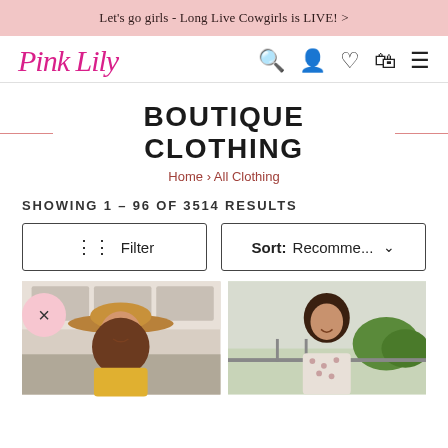Let's go girls - Long Live Cowgirls is LIVE! >
[Figure (logo): Pink Lily cursive logo in magenta/pink]
BOUTIQUE CLOTHING
Home › All Clothing
SHOWING 1 - 96 OF 3514 RESULTS
Filter
Sort: Recomme...
[Figure (photo): Woman wearing a tan wide-brim hat and yellow top, smiling, indoor kitchen background]
[Figure (photo): Woman with long dark hair wearing a floral light-colored dress, outdoor background]